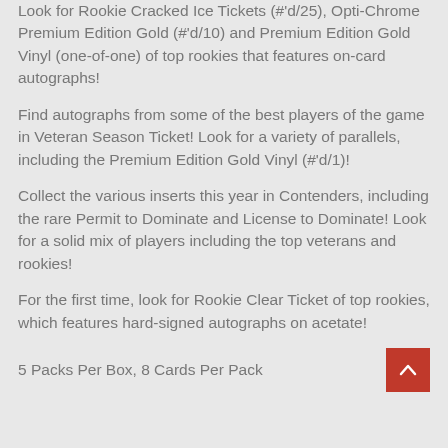Look for Rookie Cracked Ice Tickets (#'d/25), Opti-Chrome Premium Edition Gold (#'d/10) and Premium Edition Gold Vinyl (one-of-one) of top rookies that features on-card autographs!
Find autographs from some of the best players of the game in Veteran Season Ticket! Look for a variety of parallels, including the Premium Edition Gold Vinyl (#'d/1)!
Collect the various inserts this year in Contenders, including the rare Permit to Dominate and License to Dominate! Look for a solid mix of players including the top veterans and rookies!
For the first time, look for Rookie Clear Ticket of top rookies, which features hard-signed autographs on acetate!
5 Packs Per Box, 8 Cards Per Pack